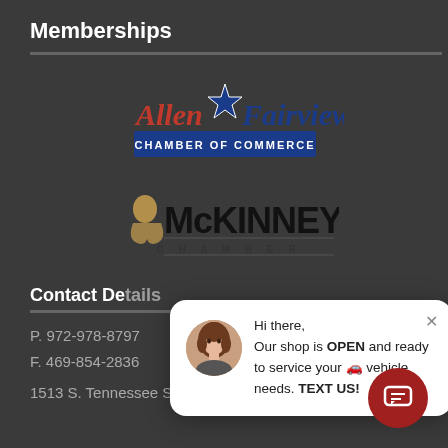Memberships
[Figure (logo): Allen Fairview Chamber of Commerce logo with blue star and red/blue text]
[Figure (logo): McKinney Chamber logo with stylized figure and bold text]
Contact De...
P. 972-978-8797
F. 469-854-2836
1513 S. Tennessee St.
[Figure (screenshot): Chat popup: Hi there, Our shop is OPEN and ready to service your vehicle needs. TEXT US! with avatar photo of woman]